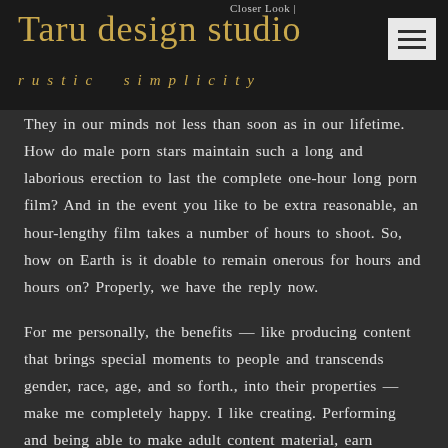Closer Look | Taru design studio rustic simplicity
They in our minds not less than soon as in our lifetime. How do male porn stars maintain such a long and laborious erection to last the complete one-hour long porn film? And in the event you like to be extra reasonable, an hour-lengthy film takes a number of hours to shoot. So, how on Earth is it doable to remain onerous for hours and hours on? Properly, we have the reply now.
For me personally, the benefits — like producing content that brings special moments to people and transcends gender, race, age, and so forth., into their properties — make me completely happy. I like creating. Performing and being able to make adult content material, earn money, have enjoyable and be a frontrunner in my own way are the benefits,